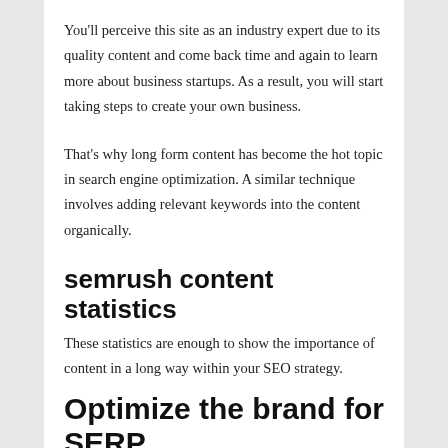You'll perceive this site as an industry expert due to its quality content and come back time and again to learn more about business startups. As a result, you will start taking steps to create your own business.
That's why long form content has become the hot topic in search engine optimization. A similar technique involves adding relevant keywords into the content organically.
semrush content statistics
These statistics are enough to show the importance of content in a long way within your SEO strategy.
Optimize the brand for SERP
The term “SERP brand” describes how your business